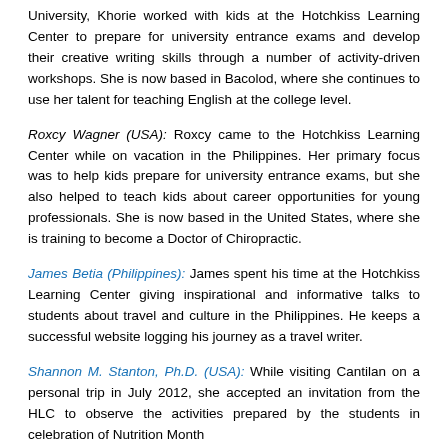University, Khorie worked with kids at the Hotchkiss Learning Center to prepare for university entrance exams and develop their creative writing skills through a number of activity-driven workshops. She is now based in Bacolod, where she continues to use her talent for teaching English at the college level.
Roxcy Wagner (USA): Roxcy came to the Hotchkiss Learning Center while on vacation in the Philippines. Her primary focus was to help kids prepare for university entrance exams, but she also helped to teach kids about career opportunities for young professionals. She is now based in the United States, where she is training to become a Doctor of Chiropractic.
James Betia (Philippines): James spent his time at the Hotchkiss Learning Center giving inspirational and informative talks to students about travel and culture in the Philippines. He keeps a successful website logging his journey as a travel writer.
Shannon M. Stanton, Ph.D. (USA): While visiting Cantilan on a personal trip in July 2012, she accepted an invitation from the HLC to observe the activities prepared by the students in celebration of Nutrition Month